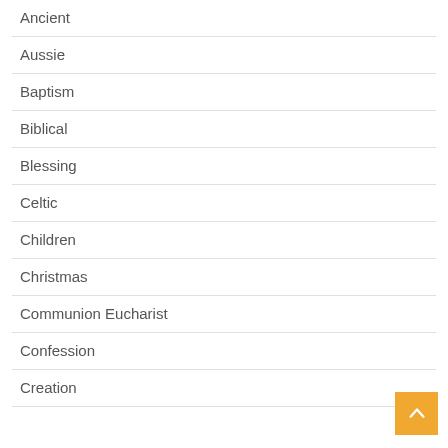Ancient
Aussie
Baptism
Biblical
Blessing
Celtic
Children
Christmas
Communion Eucharist
Confession
Creation